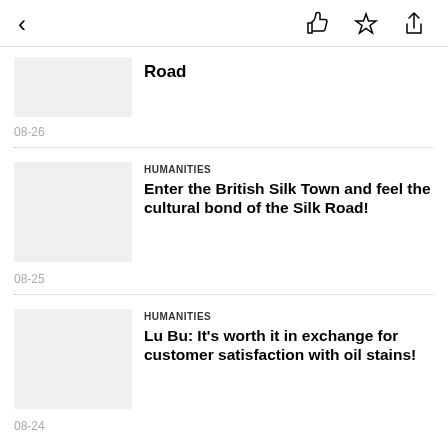< [like] [star] [share]
Road
08-26
HUMANITIES
Enter the British Silk Town and feel the cultural bond of the Silk Road!
08-25
HUMANITIES
Lu Bu: It's worth it in exchange for customer satisfaction with oil stains!
08-24